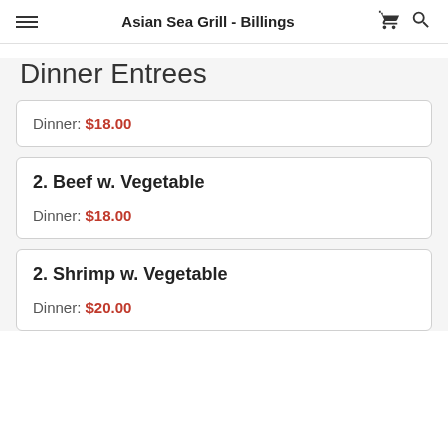Asian Sea Grill - Billings
Dinner Entrees
Dinner: $18.00
2. Beef w. Vegetable
Dinner: $18.00
2. Shrimp w. Vegetable
Dinner: $20.00